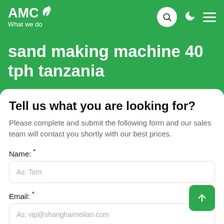AMC — What we do
sand making machine 40 tph tanzania
Tell us what you are looking for?
Please complete and submit the following form and our sales team will contact you shortly with our best prices.
Name: *
As: Tom
Email: *
As: vip@shanghaimeilan.com
Phone: *
With Country Code